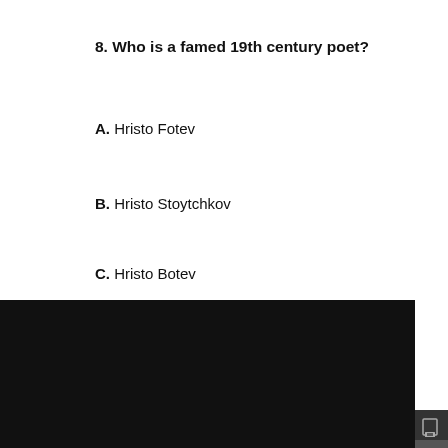8. Who is a famed 19th century poet?
A. Hristo Fotev
B. Hristo Stoytchkov
C. Hristo Botev
This site uses cookies. Learn more about how we use cookies and our privacy policy.
Got it!